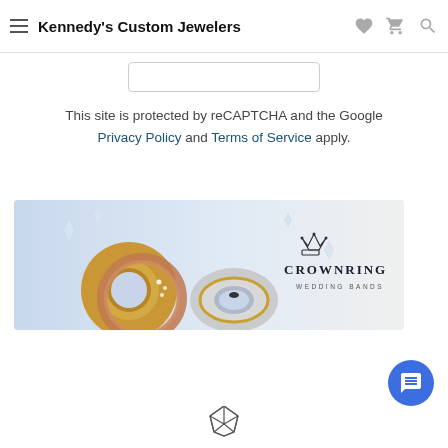Kennedy's Custom Jewelers
This site is protected by reCAPTCHA and the Google Privacy Policy and Terms of Service apply.
[Figure (photo): CrownRing Wedding Bands advertisement showing gold and silver wedding rings with the CrownRing logo and text 'WEDDING BANDS']
[Figure (logo): Partial diamond/gem outline logo at bottom center of page]